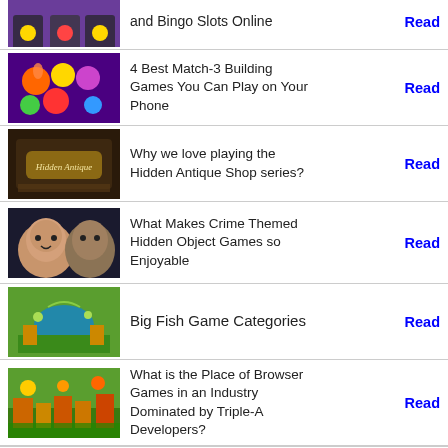and Bingo Slots Online
4 Best Match-3 Building Games You Can Play on Your Phone
Why we love playing the Hidden Antique Shop series?
What Makes Crime Themed Hidden Object Games so Enjoyable
Big Fish Game Categories
What is the Place of Browser Games in an Industry Dominated by Triple-A Developers?
Command and Conquer: